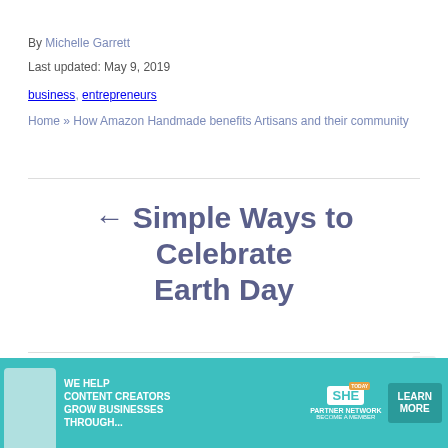By Michelle Garrett
Last updated: May 9, 2019
business, entrepreneurs
Home » How Amazon Handmade benefits Artisans and their community
← Simple Ways to Celebrate Earth Day
[Figure (infographic): Advertisement banner for SHE TODA Partner Network with text 'We help content creators grow businesses through...' and a Learn More button]